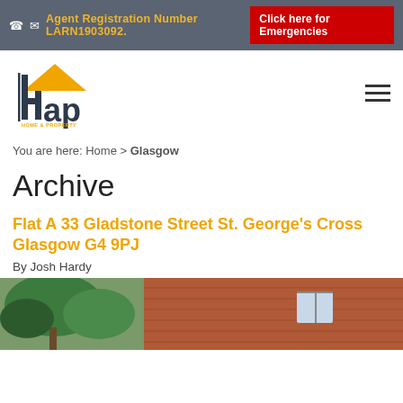Agent Registration Number LARN1903092.
Click here for Emergencies
[Figure (logo): HAP Home & Property Sales & Lettings logo with yellow house icon and dark blue text]
You are here: Home > Glasgow
Archive
Flat A 33 Gladstone Street St. George's Cross Glasgow G4 9PJ
By Josh Hardy
[Figure (photo): Exterior photo of a red brick tenement building with trees in the foreground]